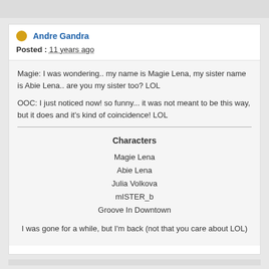Andre Gandra
Posted : 11 years ago
Magie: I was wondering.. my name is Magie Lena, my sister name is Abie Lena.. are you my sister too? LOL

OOC: I just noticed now! so funny... it was not meant to be this way, but it does and it's kind of coincidence! LOL
Characters
Magie Lena
Abie Lena
Julia Volkova
mISTER_b
Groove In Downtown
I was gone for a while, but I'm back (not that you care about LOL)
C4AJoh
Posted : 11 years ago